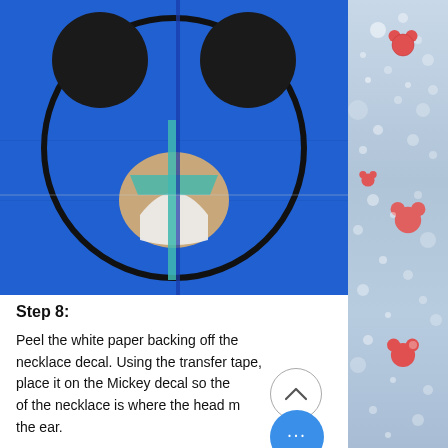[Figure (photo): Photo of a blue surface with a Mickey Mouse silhouette shape showing the head and ears. Inside the Mickey cutout, there is a necklace decal being applied with transfer tape — visible are the white paper backing partially peeled, with teal/blue tape lines crossing the surface. The background is bright royal blue.]
Step 8:
Peel the white paper backing off the necklace decal. Using the transfer tape, place it on the Mickey decal so the of the necklace is where the head m the ear.